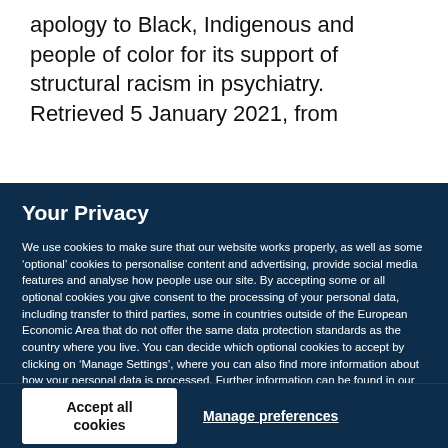apology to Black, Indigenous and people of color for its support of structural racism in psychiatry. Retrieved 5 January 2021, from
Your Privacy
We use cookies to make sure that our website works properly, as well as some ‘optional’ cookies to personalise content and advertising, provide social media features and analyse how people use our site. By accepting some or all optional cookies you give consent to the processing of your personal data, including transfer to third parties, some in countries outside of the European Economic Area that do not offer the same data protection standards as the country where you live. You can decide which optional cookies to accept by clicking on ‘Manage Settings’, where you can also find more information about how your personal data is processed. Further information can be found in our privacy policy.
Accept all cookies
Manage preferences